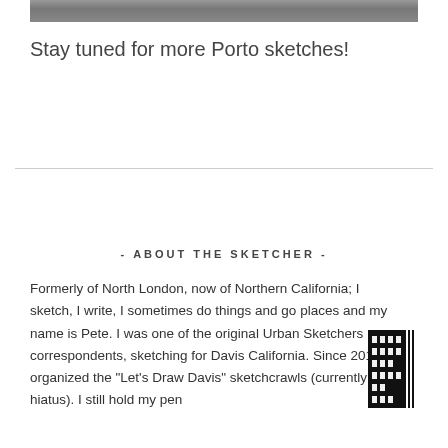[Figure (photo): Partial photo strip at top of page showing what appears to be an outdoor scene]
Stay tuned for more Porto sketches!
- ABOUT THE SKETCHER -
Formerly of North London, now of Northern California; I sketch, I write, I sometimes do things and go places and my name is Pete. I was one of the original Urban Sketchers correspondents, sketching for Davis California. Since 2010 I've organized the "Let's Draw Davis" sketchcrawls (currently on hiatus). I still hold my pen
[Figure (illustration): Small black and white icon showing a building facade at night with lit windows]